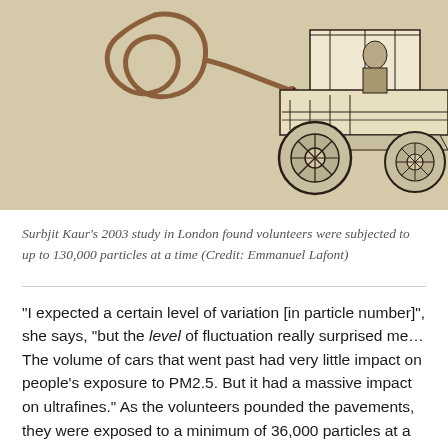[Figure (illustration): Vintage illustration on aged beige/tan background showing an early automobile (old car cross-section/side view) on the right side, with a curling snake-like hose or cord on the left side, rendered in dark ink on sepia-toned paper.]
Surbjit Kaur's 2003 study in London found volunteers were subjected to up to 130,000 particles at a time (Credit: Emmanuel Lafont)
“I expected a certain level of variation [in particle number]”, she says, “but the level of fluctuation really surprised me… The volume of cars that went past had very little impact on people’s exposure to PM2.5. But it had a massive impact on ultrafines.” As the volunteers pounded the pavements, they were exposed to a minimum of 36,000 particles at a time, up to a maximum of 130,000. When they took the same route by bike, they